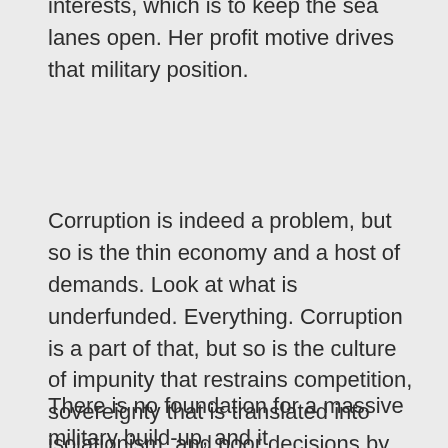interests, which is to keep the sea lanes open. Her profit motive drives that military position.
Corruption is indeed a problem, but so is the thin economy and a host of demands. Look at what is underfunded. Everything. Corruption is a part of that, but so is the culture of impunity that restrains competition, sovereignty that is translated into isolationism, and poor decisions by prior administrations.
There is no foundation for a massive military build-up, and it